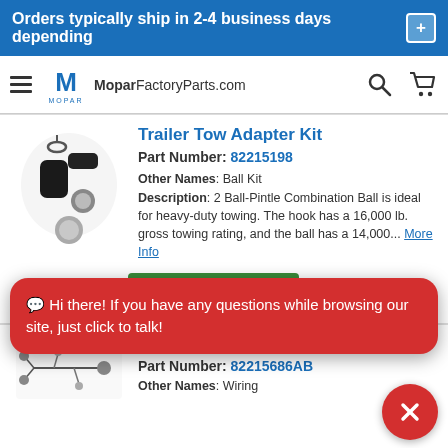Orders typically ship in 2-4 business days depending +
[Figure (screenshot): Navigation bar with hamburger menu, Mopar logo, MoparFactoryParts.com site name, search icon, and cart icon]
Trailer Tow Adapter Kit
Part Number: 82215198
Other Names: Ball Kit
Description: 2 Ball-Pintle Combination Ball is ideal for heavy-duty towing. The hook has a 16,000 lb. gross towing rating, and the ball has a 14,000... More Info
[Figure (photo): Photo of a black trailer tow adapter kit with pintle hook and ball]
🟥 Hi there! If you have any questions while browsing our site, just click to talk!
ADD TO CART
Trailer Tow Wiring Harness
Part Number: 82215686AB
Other Names: Wiring